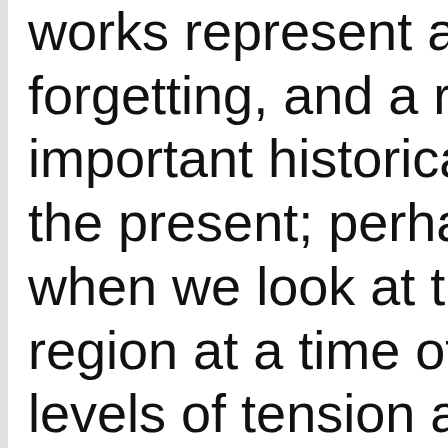works represent a p forgetting, and a rem important historical the present; perhap when we look at the region at a time of h levels of tension an In Fattal's many col